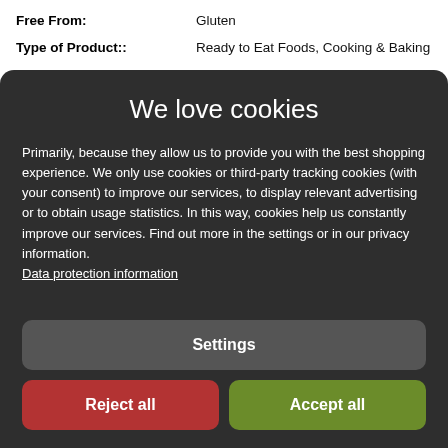Free From: Gluten
Type of Product:: Ready to Eat Foods, Cooking & Baking
We love cookies
Primarily, because they allow us to provide you with the best shopping experience. We only use cookies or third-party tracking cookies (with your consent) to improve our services, to display relevant advertising or to obtain usage statistics. In this way, cookies help us constantly improve our services. Find out more in the settings or in our privacy information. Data protection information
Settings
Reject all
Accept all